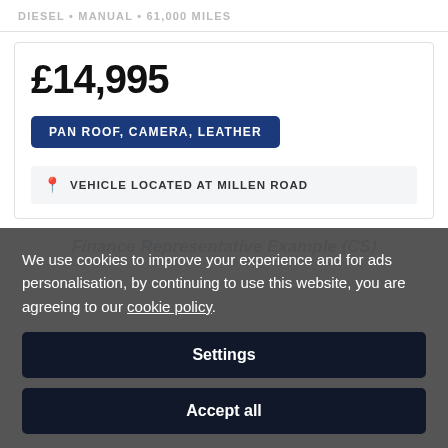DIESEL • MANUAL • 61,000 MILES
£14,995
PAN ROOF, CAMERA, LEATHER
VEHICLE LOCATED AT MILLEN ROAD
Finance Representative Example (CS)
We use cookies to improve your experience and for ads personalisation, by continuing to use this website, you are agreeing to our cookie policy.
Settings
Accept all